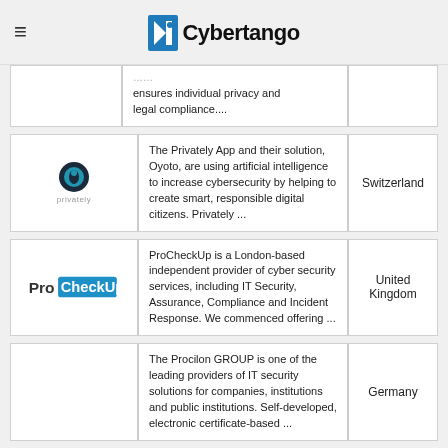Cybertango
ensures individual privacy and legal compliance....
The Privately App and their solution, Oyoto, are using artificial intelligence to increase cybersecurity by helping to create smart, responsible digital citizens. Privately ...
Switzerland
ProCheckUp is a London-based independent provider of cyber security services, including IT Security, Assurance, Compliance and Incident Response. We commenced offering ...
United Kingdom
The Procilon GROUP is one of the leading providers of IT security solutions for companies, institutions and public institutions. Self-developed, electronic certificate-based ...
Germany